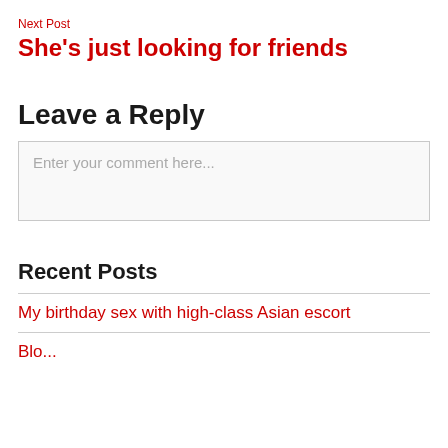Next Post
She's just looking for friends
Leave a Reply
Enter your comment here...
Recent Posts
My birthday sex with high-class Asian escort
Blo...